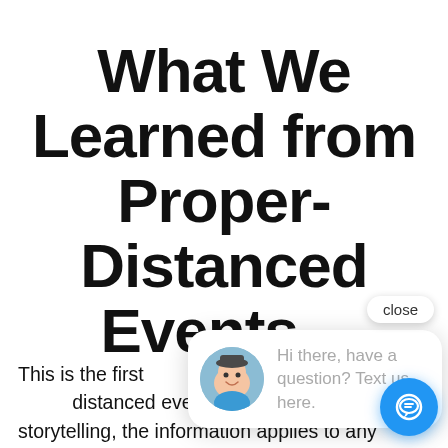What We Learned from Proper-Distanced Events – P
This is the first distanced events. While focusing on storytelling, the information applies to any performing arts or p distanced event. Our blog as well as our proper-distanced house concerts with rental of recordings are